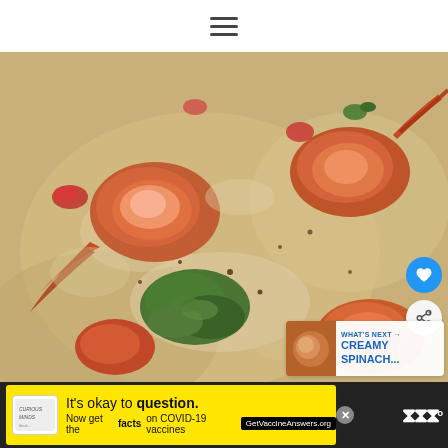[Figure (other): Hamburger menu icon (three horizontal lines)]
[Figure (photo): Close-up food photo of shrimp in a creamy sauce with herbs and tomatoes, with a heart/favorite button, share button, and a 'What's Next: Creamy Spinach...' overlay thumbnail]
[Figure (other): Advertisement banner: yellow background, 'It's okay to question. Now get the facts on COVID-19 vaccines GetVaccineAnswers.org']